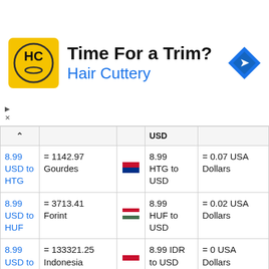[Figure (screenshot): Advertisement banner for Hair Cuttery with yellow HC logo, tagline 'Time For a Trim?' and blue navigation arrow icon]
|  |  |  | USD |  |
| --- | --- | --- | --- | --- |
| 8.99 USD to HTG | = 1142.97 Gourdes | [HT flag] | 8.99 HTG to USD | = 0.07 USA Dollars |
| 8.99 USD to HUF | = 3713.41 Forint | [HU flag] | 8.99 HUF to USD | = 0.02 USA Dollars |
| 8.99 USD to IDR | = 133321.25 Indonesia Rupiah | [ID flag] | 8.99 IDR to USD | = 0 USA Dollars |
| 8.99 USD to ILS | = 29.24 Israeli Shekel | [IL flag] | 8.99 ILS to USD | = 2.76 USA Dollars |
| 8.99 USD to IMP | = 7.65 Manx pound | [IM flag] | 8.99 IMP to USD | = 10.56 USA Dollars |